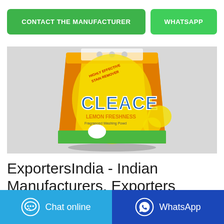CONTACT THE MANUFACTURER
WHATSAPP
[Figure (photo): A yellow and orange packet of Cleace Lemon Freshness Fragranced Washing Powder on a grey background]
ExportersIndia - Indian Manufacturers Exporters
Chat online
WhatsApp